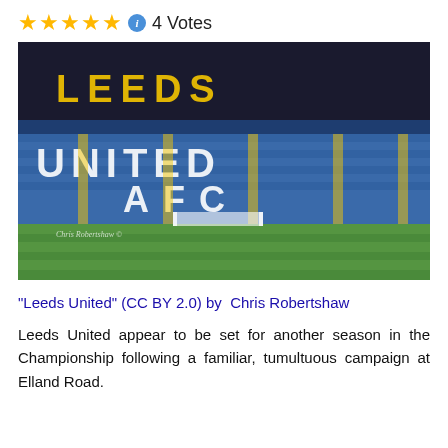★★★★★ ℹ 4 Votes
[Figure (photo): Photograph of Leeds United AFC stadium (Elland Road) showing the stands with blue and yellow seats spelling out LEEDS UNITED AFC, with the green pitch in the foreground.]
"Leeds United" (CC BY 2.0) by Chris Robertshaw
Leeds United appear to be set for another season in the Championship following a familiar, tumultuous campaign at Elland Road.